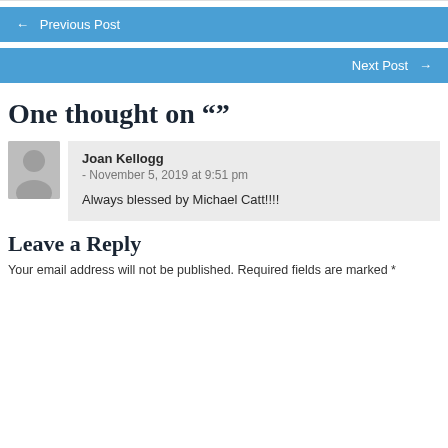← Previous Post
Next Post →
One thought on ""
Joan Kellogg - November 5, 2019 at 9:51 pm
Always blessed by Michael Catt!!!!
Leave a Reply
Your email address will not be published. Required fields are marked *